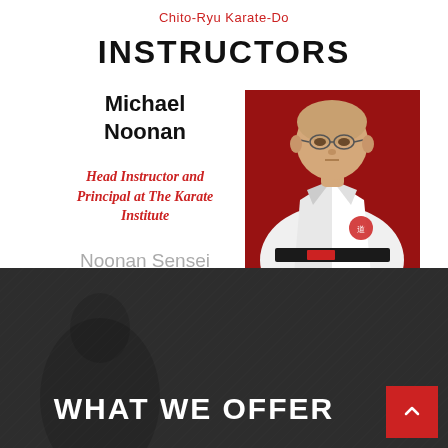Chito-Ryu Karate-Do
INSTRUCTORS
Michael Noonan
Head Instructor and Principal at The Karate Institute
Noonan Sensei has spent his
[Figure (photo): Michael Noonan in white karate gi with black belt, posed in front of a red background with Japanese calligraphy]
WHAT WE OFFER